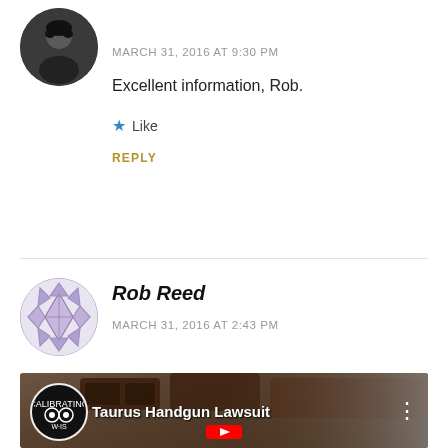[Figure (photo): Circular avatar of a person (dark hair, dark clothing)]
MARCH 31, 2016 AT 9:30 PM
Excellent information, Rob.
★ Like
REPLY
[Figure (illustration): Circular decorative geometric/tribal pattern avatar for Rob Reed]
Rob Reed
MARCH 31, 2016 AT 2:43 PM
[Figure (screenshot): YouTube video thumbnail showing 'Taurus Handgun Lawsuit' with chocolate pieces in background and YouTube play button]